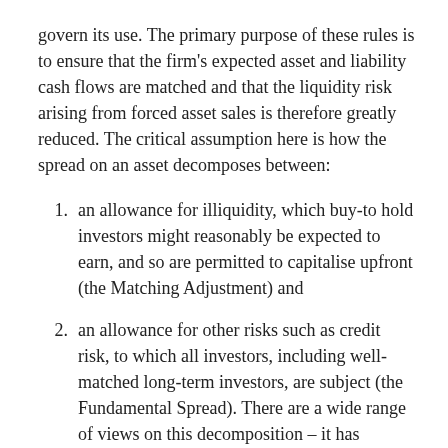govern its use. The primary purpose of these rules is to ensure that the firm's expected asset and liability cash flows are matched and that the liquidity risk arising from forced asset sales is therefore greatly reduced. The critical assumption here is how the spread on an asset decomposes between:
an allowance for illiquidity, which buy-to hold investors might reasonably be expected to earn, and so are permitted to capitalise upfront (the Matching Adjustment) and
an allowance for other risks such as credit risk, to which all investors, including well-matched long-term investors, are subject (the Fundamental Spread). There are a wide range of views on this decomposition – it has elements of art and